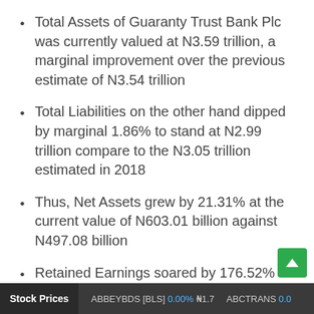Total Assets of Guaranty Trust Bank Plc was currently valued at N3.59 trillion, a marginal improvement over the previous estimate of N3.54 trillion
Total Liabilities on the other hand dipped by marginal 1.86% to stand at N2.99 trillion compare to the N3.05 trillion estimated in 2018
Thus, Net Assets grew by 21.31% at the current value of N603.01 billion against N497.08 billion
Retained Earnings soared by 176.52% to stand at the current N128.21 billion as against
Stock Prices   ABBEYBDS [BLS] 0.00% ₦1.7   ABCTRANS 0.0...